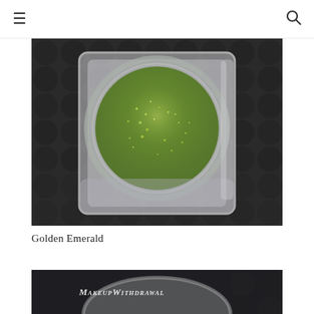☰   🔍
[Figure (photo): Close-up photo of an open clear plastic square jar containing shimmery green (emerald) loose pigment/eyeshadow powder, set against a dark textured background.]
Golden Emerald
[Figure (photo): Partial photo of another cosmetic jar with 'MakeupWithdrawal' watermark text visible, showing a round lid or product.]